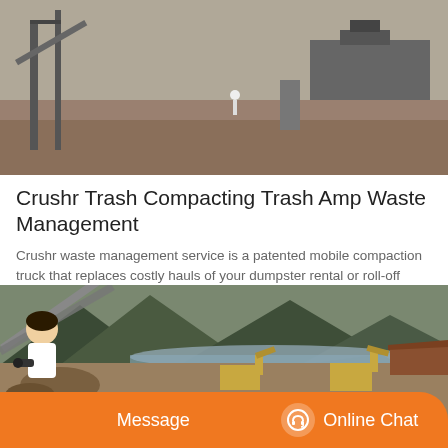[Figure (photo): Outdoor industrial/construction site scene showing machinery and equipment on bare ground with structures in background]
Crushr Trash Compacting Trash Amp Waste Management
Crushr waste management service is a patented mobile compaction truck that replaces costly hauls of your dumpster rental or roll-off dumpster with an inexpensive service, making it easier and more affordable for you to manage your open-top container waste.
[Figure (photo): Outdoor quarry or mining site with excavators, conveyor belts, mountains and a lake or reservoir in the background]
[Figure (other): Message and Online Chat buttons bar with support person image]